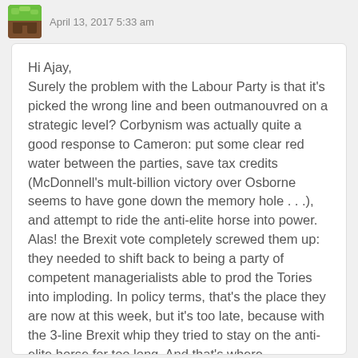April 13, 2017 5:33 am
Hi Ajay,
Surely the problem with the Labour Party is that it's picked the wrong line and been outmanouvred on a strategic level? Corbynism was actually quite a good response to Cameron: put some clear red water between the parties, save tax credits (McDonnell's mult-billion victory over Osborne seems to have gone down the memory hole . . .), and attempt to ride the anti-elite horse into power. Alas! the Brexit vote completely screwed them up: they needed to shift back to being a party of competent managerialists able to prod the Tories into imploding. In policy terms, that's the place they are now at this week, but it's too late, because with the 3-line Brexit whip they tried to stay on the anti-elite horse for too long. And that's where...